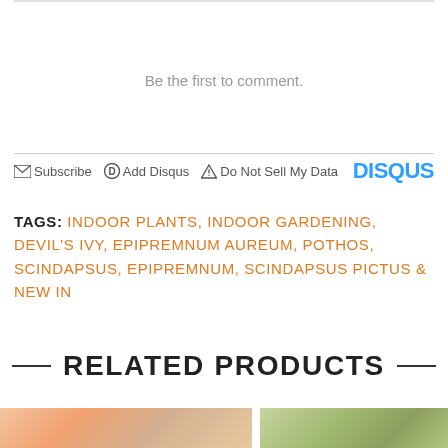Be the first to comment.
Subscribe  Add Disqus  Do Not Sell My Data  DISQUS
TAGS: INDOOR PLANTS, INDOOR GARDENING, DEVIL'S IVY, EPIPREMNUM AUREUM, POTHOS, SCINDAPSUS, EPIPREMNUM, SCINDAPSUS PICTUS & NEW IN
RELATED PRODUCTS
[Figure (photo): Product images at bottom of page - two plant-related product photos side by side]